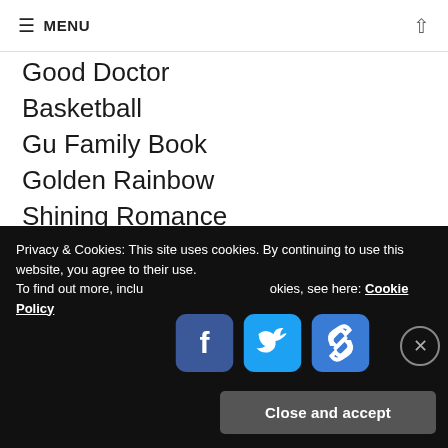≡ MENU ↑
Good Doctor
Basketball
Gu Family Book
Golden Rainbow
Shining Romance
Goddess of Marriage
The Heirs
Hur Jun, the Original Story
Her Legend
Privacy & Cookies: This site uses cookies. By continuing to use this website, you agree to their use.
To find out more, including how to control cookies, see here: Cookie Policy
[Figure (screenshot): Social share buttons: Facebook, Twitter, and a chain/link icon, rendered as rounded square icons in blue tones]
Close and accept